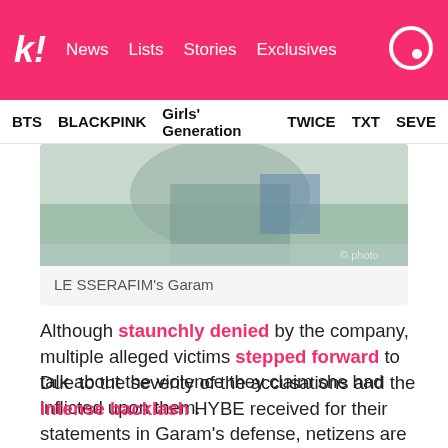k! News Lists Stories Exclusives
BTS BLACKPINK Girls' Generation TWICE TXT SEVE
[Figure (photo): Partial photo of LE SSERAFIM's Garam]
LE SSERAFIM's Garam
Although staunchly denied by the company, multiple alleged victims stepped forward to talk about the violence they claim she had inflicted upon them.
Due to the severity of the accusations and the intense backlash HYBE received for their statements in Garam's defense, netizens are suspicious about the timing of Jennie and V's new scandal. They speculate that the scandal is